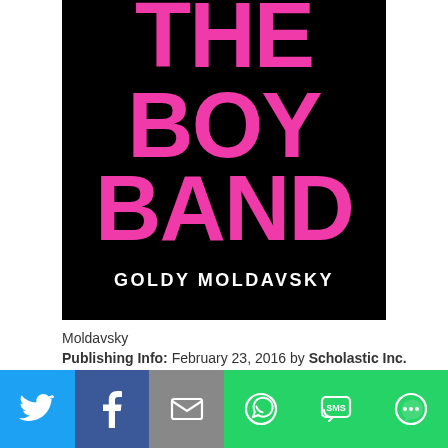[Figure (illustration): Book cover of 'The Boy Band' by Goldy Moldavsky. Black background with large hot pink bold text reading 'THE BOY BAND' and author name 'GOLDY MOLDAVSKY' in white bold text at the bottom.]
Moldavsky
Publishing Info: February 23, 2016 by Scholastic Inc.
[Figure (infographic): Social share bar with six buttons: Twitter (light blue), Facebook (dark blue), Email (gray), WhatsApp (green), SMS (green), More (green). Each button shows a white icon.]